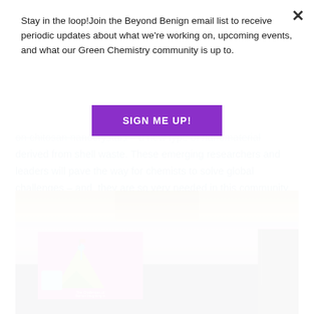Stay in the loop!Join the Beyond Benign email list to receive periodic updates about what we're working on, upcoming events, and what our Green Chemistry community is up to.
SIGN ME UP!
on chitosan nanocrystals – a new type of nanomaterial derived from shell waste. These emerging researchers and leaders will pave the way for chemists to solve global challenges – and, they are so very needed in this community.
[Figure (photo): Conference room photo showing a chandelier ceiling, pink-purple ambient lighting, a presentation screen displaying a colorful graphic with a person climbing a mountain and text reading 'The Challenges of Women Integrating in the Sustainable Space', dark curtains on right side.]